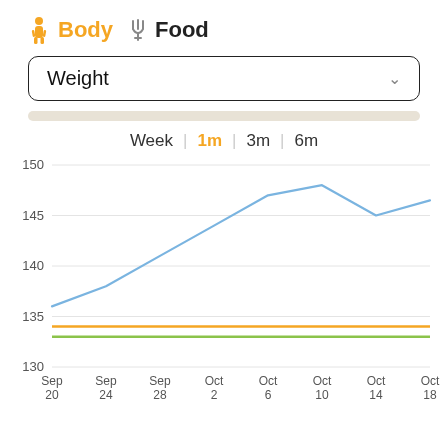Body  Food
Weight
Week | 1m | 3m | 6m
[Figure (line-chart): Line chart showing weight trend from Sep 20 to Oct 18. Weight rises from ~136 to ~148, dips to 145, then settles ~146.5. Two horizontal reference lines: orange at ~134 and green at ~133.]